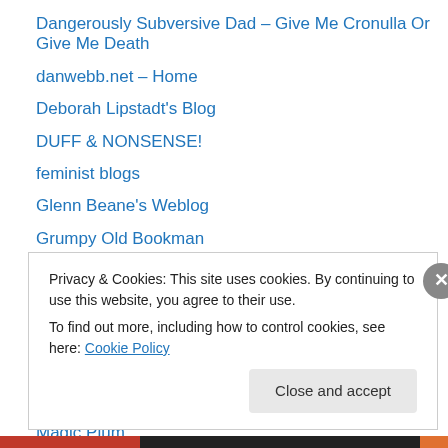Dangerously Subversive Dad – Give Me Cronulla Or Give Me Death
danwebb.net – Home
Deborah Lipstadt's Blog
DUFF & NONSENSE!
feminist blogs
Glenn Beane's Weblog
Grumpy Old Bookman
inspectorgadget.wordpress.com
Jews sans frontieres
Johann Burkard
johannhari.com
Louise Hill Designs Blog
Magic Plum
Privacy & Cookies: This site uses cookies. By continuing to use this website, you agree to their use.
To find out more, including how to control cookies, see here: Cookie Policy
Close and accept